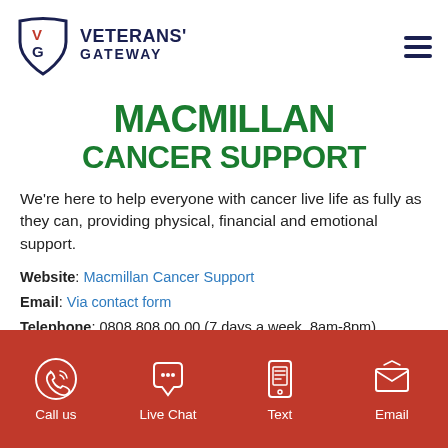[Figure (logo): Veterans' Gateway logo with shield containing V and G letters, alongside text VETERANS' GATEWAY]
[Figure (logo): Macmillan Cancer Support logo in bold green rounded font]
We're here to help everyone with cancer live life as fully as they can, providing physical, financial and emotional support.
Website: Macmillan Cancer Support
Email: Via contact form
Telephone: 0808 808 00 00 (7 days a week, 8am-8pm)
[Figure (infographic): Red footer bar with four icons and labels: Call us, Live Chat, Text, Email]